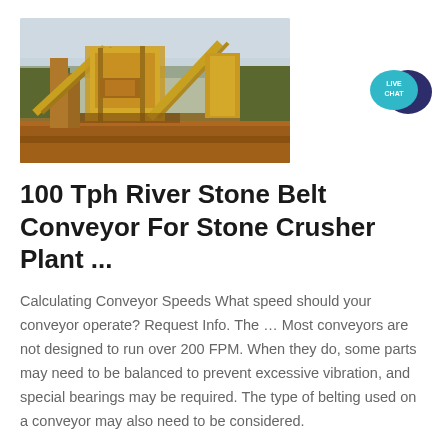[Figure (photo): Outdoor photograph of a stone crusher plant with yellow conveyor belt machinery on red/brown earthen ground with trees in background under overcast sky]
[Figure (illustration): Live Chat button: teal speech bubble with 'LIVE CHAT' text in white, overlapping a dark navy/purple speech bubble icon]
100 Tph River Stone Belt Conveyor For Stone Crusher Plant ...
Calculating Conveyor Speeds What speed should your conveyor operate? Request Info. The … Most conveyors are not designed to run over 200 FPM. When they do, some parts may need to be balanced to prevent excessive vibration, and special bearings may be required. The type of belting used on a conveyor may also need to be considered.